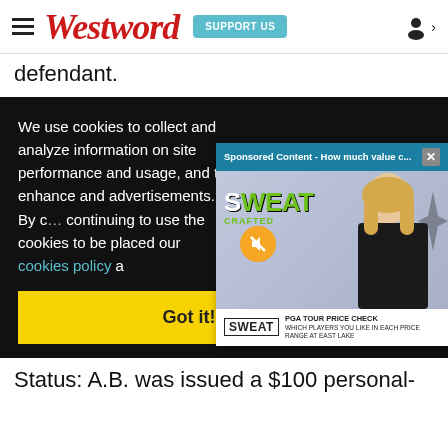Westword | SUPPORT US
defendant.
We use cookies to collect and analyze information on site performance and usage, and to enhance and advertisements. By continuing to use the cookies to be placed our cookies policy a
[Figure (screenshot): Sponsored Content video popup showing 'How much value c...' with a blonde woman presenter, SWEAT logo, mute button, PGA TOUR PRICE CHECK lower third, and a close (X) button]
Got it!
Status: A.B. was issued a $100 personal-